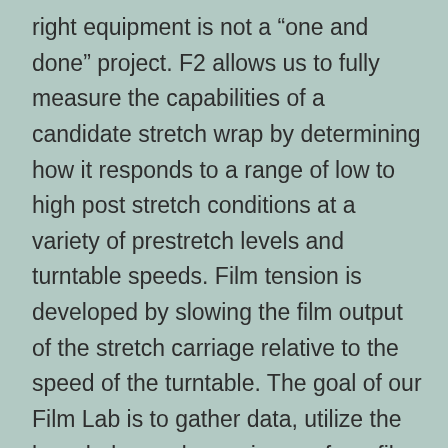right equipment is not a “one and done” project. F2 allows us to fully measure the capabilities of a candidate stretch wrap by determining how it responds to a range of low to high post stretch conditions at a variety of prestretch levels and turntable speeds. Film tension is developed by slowing the film output of the stretch carriage relative to the speed of the turntable. The goal of our Film Lab is to gather data, utilize the knowledge and experience of our film technicians, analyze the results, and make recommendations that match the best film to a particular application.